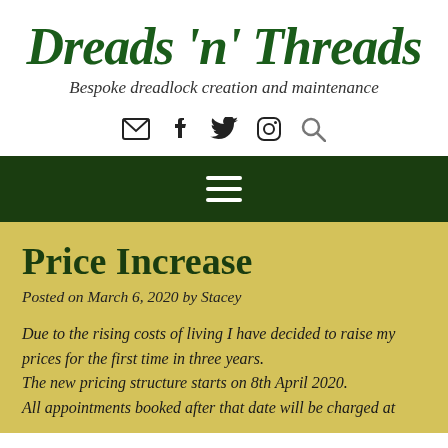Dreads 'n' Threads
Bespoke dreadlock creation and maintenance
[Figure (other): Social media icons: email, Facebook, Twitter, Instagram, Search]
[Figure (other): Hamburger navigation menu icon on dark green background]
Price Increase
Posted on March 6, 2020 by Stacey
Due to the rising costs of living I have decided to raise my prices for the first time in three years.
The new pricing structure starts on 8th April 2020.
All appointments booked after that date will be charged at